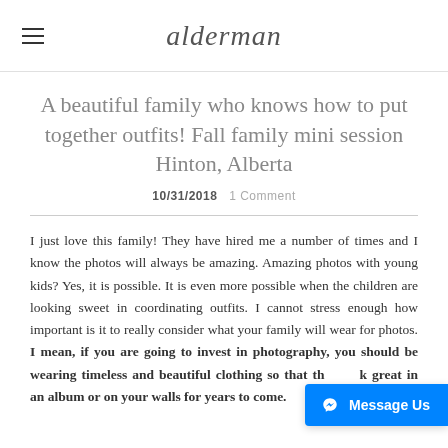alderman photography
A beautiful family who knows how to put together outfits! Fall family mini session Hinton, Alberta
10/31/2018   1 Comment
I just love this family! They have hired me a number of times and I know the photos will always be amazing. Amazing photos with young kids? Yes, it is possible. It is even more possible when the children are looking sweet in coordinating outfits. I cannot stress enough how important is it to really consider what your family will wear for photos. I mean, if you are going to invest in photography, you should be wearing timeless and beautiful clothing so that they look great in an album or on your walls for years to come.